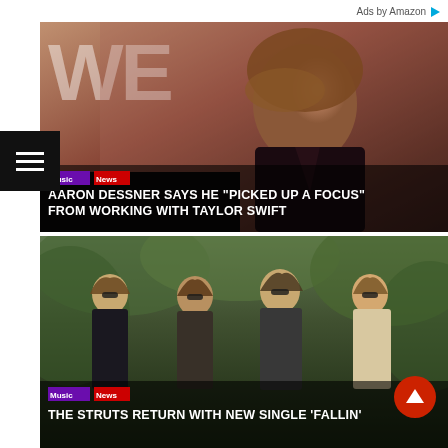Ads by Amazon ▶
[Figure (photo): Taylor Swift at a red carpet event, wearing dark clothing, in front of a backdrop with letters, with Music and News category tags and headline overlay]
AARON DESSNER SAYS HE "PICKED UP A FOCUS" FROM WORKING WITH TAYLOR SWIFT
[Figure (photo): The Struts band group photo outdoors in greenery, four members with long hair in stylish outfits, with Music and News category tags and headline overlay]
THE STRUTS RETURN WITH NEW SINGLE 'FALLIN'